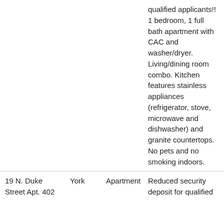|  |  |  | qualified applicants!! 1 bedroom, 1 full bath apartment with CAC and washer/dryer. Living/dining room combo. Kitchen features stainless appliances (refrigerator, stove, microwave and dishwasher) and granite countertops. No pets and no smoking indoors. |
| 19 N. Duke Street Apt. 402 | York | Apartment | Reduced security deposit for qualified |